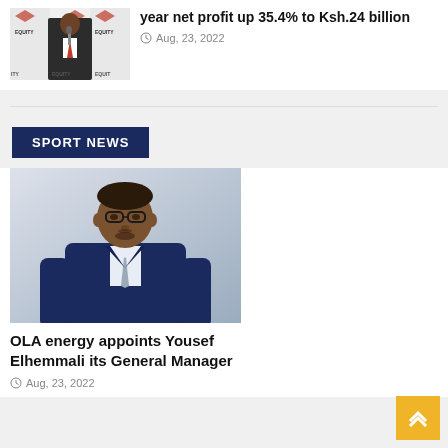[Figure (photo): Man in suit at Equity Bank press conference podium with Equity Bank branded backdrop]
year net profit up 35.4% to Ksh.24 billion
Aug, 23, 2022
SPORT NEWS
[Figure (photo): Portrait of Yousef Elhemmali in dark blue suit and grey tie against light background]
OLA energy appoints Yousef Elhemmali its General Manager
Aug, 23, 2022